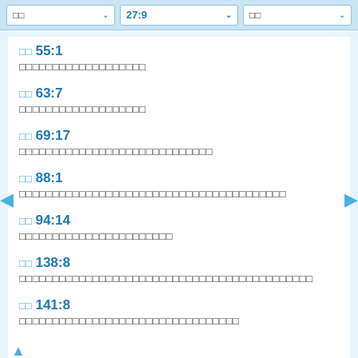□□  27:9  □□
□□ 55:1
□□□□□□□□□□□□□□□□□□□
□□ 63:7
□□□□□□□□□□□□□□□□□□□
□□ 69:17
□□□□□□□□□□□□□□□□□□□□□□□□□□□□□
□□ 88:1
□□□□□□□□□□□□□□□□□□□□□□□□□□□□□□□□□□□□□□□□
□□ 94:14
□□□□□□□□□□□□□□□□□□□□□□□
□□ 138:8
□□□□□□□□□□□□□□□□□□□□□□□□□□□□□□□□□□□□□□□□□□□□
□□ 141:8
□□□□□□□□□□□□□□□□□□□□□□□□□□□□□□□□□